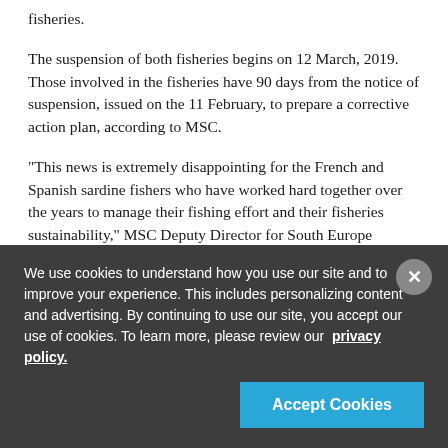fisheries.
The suspension of both fisheries begins on 12 March, 2019. Those involved in the fisheries have 90 days from the notice of suspension, issued on the 11 February, to prepare a corrective action plan, according to MSC.
"This news is extremely disappointing for the French and Spanish sardine fishers who have worked hard together over the years to manage their fishing effort and their fisheries sustainability," MSC Deputy Director for South Europe Edouard le Bart said. "This new scientific advice changes the game, but the efforts the fisheries have made so far are not in vain. On the contrary, the sardine stock remains healthy, and I strongly encourage fisheries to continue efforts to adapt to these new
We use cookies to understand how you use our site and to improve your experience. This includes personalizing content and advertising. By continuing to use our site, you accept our use of cookies. To learn more, please review our privacy policy.